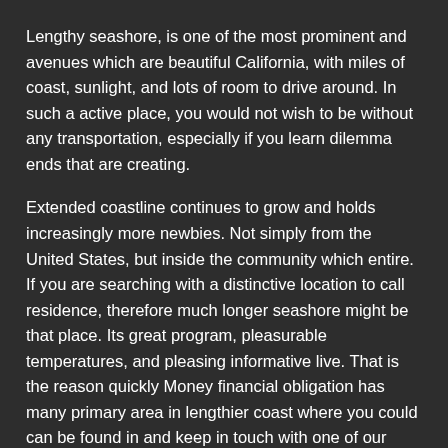Lengthy seashore, is one of the most prominent and avenues which are beautiful California, with miles of coast, sunlight, and lots of room to drive around. In such a active place, you would not wish to be without any transportation, especially if you learn dilemma ends that are creating.
Extended coastline continues to grow and holds increasingly more newbies. Not simply from the United States, but inside the community which entire. If you are searching with a distinctive location to call residence, therefore much longer seashore might be that place. Its great program, pleasurable temperatures, and pleasing informative live. That is the reason quickly Money financial obligation has many primary area in lengthier coast where you could can be found in and keep in touch with one of our pleasant personnel to assist you regulate funds demands. Using the charm that is a lot, we wish to allow you to obtain the automobile funding